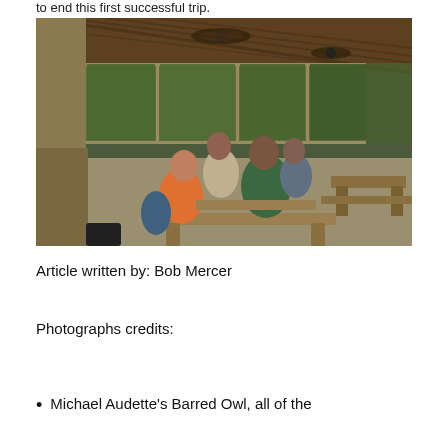to end this first successful trip.
[Figure (photo): People sitting at wooden picnic tables inside a screened-in pavilion or shelter with large windows looking out to wooded trees. Ceiling fans visible above. Several people gathered around tables, one wearing an orange shirt, another wearing a green shirt.]
Article written by: Bob Mercer
Photographs credits:
Michael Audette's Barred Owl, all of the